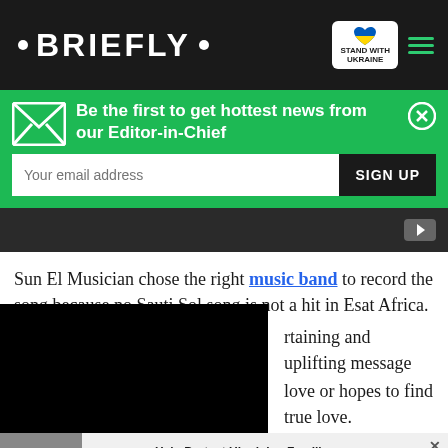• BRIEFLY •
Be the first to get hottest news from our Editor-in-Chief
Sun El Musician chose the right music band to record the song because no Sauti Sol song is not a hit in Esat Africa. ...rtaining and uplifting message ...love or hopes to find true love.
[Figure (screenshot): Black video player overlay covering lower-left portion of article]
Help Protect Ukrainian Families DONATE NOW